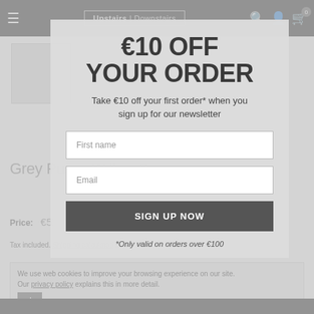Upstairs | Downstairs — navigation bar with hamburger menu, logo, search, account, cart (0)
[Figure (photo): Grey product thumbnail image placeholder]
€10 OFF YOUR ORDER
Take €10 off your first order* when you sign up for our newsletter
Grey Pussy Willow Spray
Price: €5
Tax included. Shipping calculated at checkout
We use web cookies to improve your browsing experience on our site. Our privacy policy explains this in more detail.
First name (input field)
Email (input field)
SIGN UP NOW
*Only valid on orders over €100